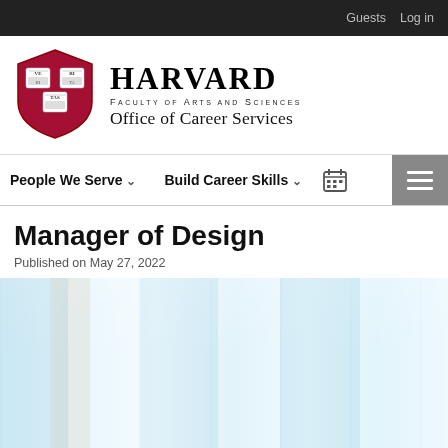Guests  Log in
[Figure (logo): Harvard University shield logo (crimson red with VERITAS books) alongside HARVARD wordmark, Faculty of Arts and Sciences, Office of Career Services]
People We Serve  ∨    Build Career Skills  ∨   [calendar icon]  [menu icon]
Manager of Design
Published on May 27, 2022
[Figure (photo): Blurred interior office/room scene with light blue-white tones, showing windows and soft natural light]